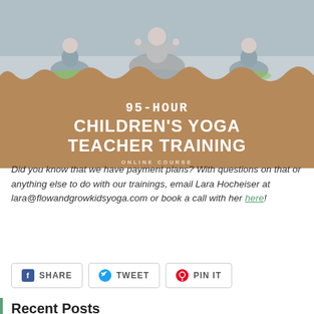[Figure (photo): Group of people sitting cross-legged in yoga meditation pose, overlaid on a tan/brown background with text: 95-HOUR CHILDREN'S YOGA TEACHER TRAINING ONLINE COURSE]
Did you know that we have payment plans? With questions on that or anything else to do with our trainings, email Lara Hocheiser at lara@flowandgrowkidsyoga.com or book a call with her here!
SHARE  TWEET  PIN IT
Recent Posts